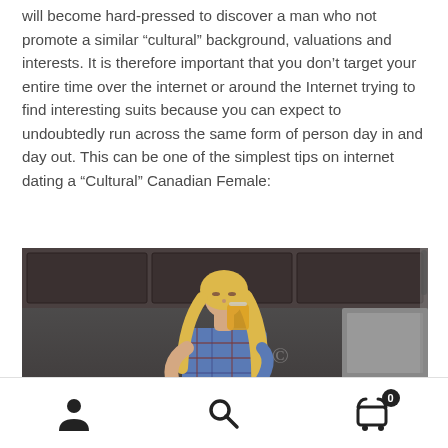will become hard-pressed to discover a man who not promote a similar “cultural” background, valuations and interests. It is therefore important that you don’t target your entire time over the internet or around the Internet trying to find interesting suits because you can expect to undoubtedly run across the same form of person day in and day out. This can be one of the simplest tips on internet dating a “Cultural” Canadian Female:
[Figure (photo): Blonde woman in a plaid shirt drinking orange juice in a kitchen, with a watermark overlay reading 'dreamstime']